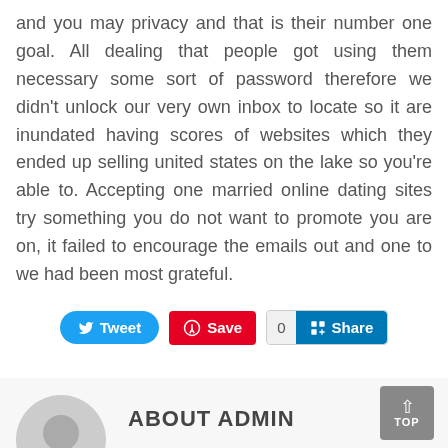and you may privacy and that is their number one goal. All dealing that people got using them necessary some sort of password therefore we didn't unlock our very own inbox to locate so it are inundated having scores of websites which they ended up selling united states on the lake so you're able to. Accepting one married online dating sites try something you do not want to promote you are on, it failed to encourage the emails out and one to we had been most grateful.
[Figure (other): Social sharing buttons: Tweet (blue), Save (red Pinterest), Share count (0) and LinkedIn Share button]
ABOUT ADMIN